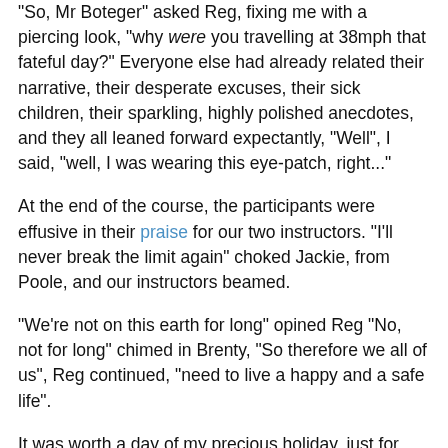"So, Mr Boteger" asked Reg, fixing me with a piercing look, "why were you travelling at 38mph that fateful day?" Everyone else had already related their narrative, their desperate excuses, their sick children, their sparkling, highly polished anecdotes, and they all leaned forward expectantly, "Well", I said, "well, I was wearing this eye-patch, right..."
At the end of the course, the participants were effusive in their praise for our two instructors. "I'll never break the limit again" choked Jackie, from Poole, and our instructors beamed.
"We're not on this earth for long" opined Reg "No, not for long" chimed in Brenty, "So therefore we all of us", Reg continued, "need to live a happy and a safe life".
It was worth a day of my precious holiday, just for that.
COAST
- concentration
- observation
- anticipation